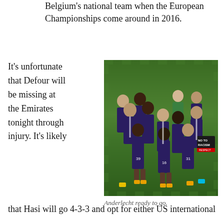Belgium's national team when the European Championships come around in 2016.
It's unfortunate that Defour will be missing at the Emirates tonight through injury.
[Figure (photo): Anderlecht football team posed in a line on the pitch wearing purple and white kits, one player holding a 'No To Racism' banner]
Anderlecht ready to go.
It's likely that Hasi will go 4-3-3 and opt for either US international